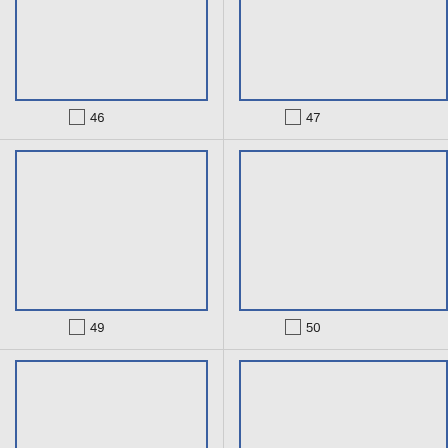[Figure (other): Empty card placeholder box 46 with blue border and checkbox label]
□ 46
[Figure (other): Empty card placeholder box 47 with blue border and checkbox label]
□ 47
[Figure (other): Empty card placeholder box 49 with blue border and checkbox label]
□ 49
[Figure (other): Empty card placeholder box 50 with blue border and checkbox label]
□ 50
[Figure (other): Empty card placeholder box 52 with blue border and checkbox label]
□ 52
[Figure (other): Empty card placeholder box 53 with blue border and checkbox label]
□ 53